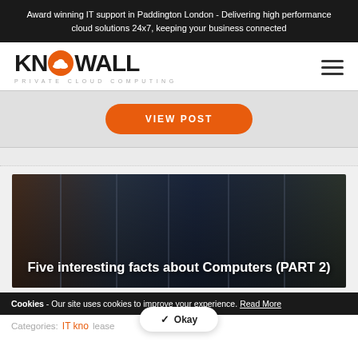Award winning IT support in Paddington London - Delivering high performance cloud solutions 24x7, keeping your business connected
[Figure (logo): Knowall Private Cloud Computing logo - orange cloud icon between KN and OWAll text in black bold, with 'PRIVATE CLOUD COMPUTING' subtitle in grey spaced letters]
VIEW POST
[Figure (photo): Dark server room with rack-mounted servers - image overlay with white text: Five interesting facts about Computers (PART 2)]
Five interesting facts about Computers (PART 2)
Cookies - Our site uses cookies to improve your experience. Read More
Categories: IT kno lease
✓ Okay